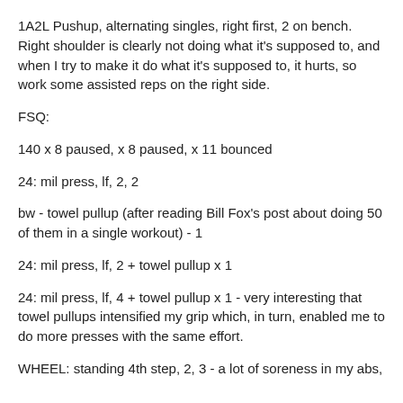1A2L Pushup, alternating singles, right first, 2 on bench. Right shoulder is clearly not doing what it's supposed to, and when I try to make it do what it's supposed to, it hurts, so work some assisted reps on the right side.
FSQ:
140 x 8 paused, x 8 paused, x 11 bounced
24: mil press, lf, 2, 2
bw - towel pullup (after reading Bill Fox's post about doing 50 of them in a single workout) - 1
24: mil press, lf, 2 + towel pullup x 1
24: mil press, lf, 4 + towel pullup x 1 - very interesting that towel pullups intensified my grip which, in turn, enabled me to do more presses with the same effort.
WHEEL: standing 4th step, 2, 3 - a lot of soreness in my abs,